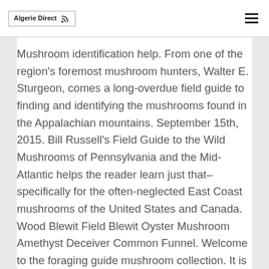Algerie Direct
Mushroom identification help. From one of the region’s foremost mushroom hunters, Walter E. Sturgeon, comes a long-overdue field guide to finding and identifying the mushrooms found in the Appalachian mountains. September 15th, 2015. Bill Russell’s Field Guide to the Wild Mushrooms of Pennsylvania and the Mid-Atlantic helps the reader learn just that–specifically for the often-neglected East Coast mushrooms of the United States and Canada. Wood Blewit Field Blewit Oyster Mushroom Amethyst Deceiver Common Funnel. Welcome to the foraging guide mushroom collection. It is much more useful as an “after field guide” when you have your mushrooms at home and want to key them out. Puck’s Plenty Foraging Tours (Stratford, Ont.) Field guide Peter Blush takes foragers along trails in